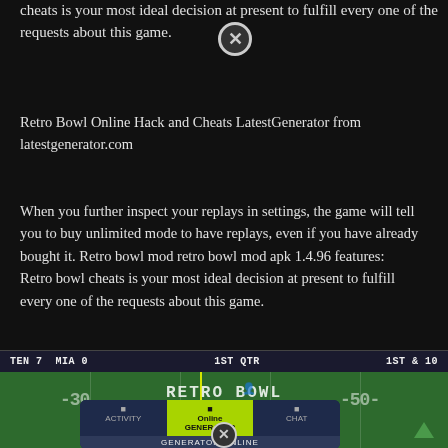cheats is your most ideal decision at present to fulfill every one of the requests about this game.
Retro Bowl Online Hack and Cheats LatestGenerator from latestgenerator.com
When you further inspect your replays in settings, the game will tell you to buy unlimited mode to have replays, even if you have already bought it. Retro bowl mod retro bowl mod apk 1.4.96 features: Retro bowl cheats is your most ideal decision at present to fulfill every one of the requests about this game.
[Figure (screenshot): Screenshot of Retro Bowl mobile game showing scoreboard TEN 7 MIA 0, 1ST QTR, 1ST & 10, with football field view and a generator online popup overlay with tabs for ACTIVITY, Online GENERATOR, and CHAT]